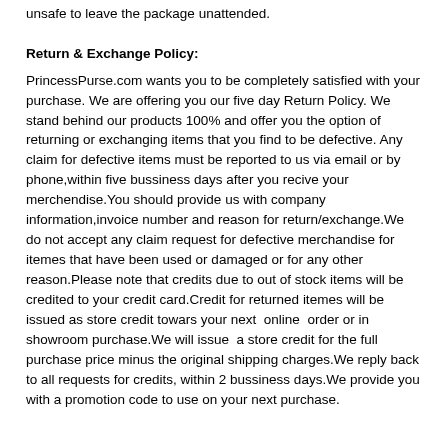unsafe to leave the package unattended.
Return & Exchange Policy:
PrincessPurse.com wants you to be completely satisfied with your purchase. We are offering you our five day Return Policy. We stand behind our products 100% and offer you the option of returning or exchanging items that you find to be defective. Any claim for defective items must be reported to us via email or by phone,within five bussiness days after you recive your merchendise.You should provide us with company information,invoice number and reason for return/exchange.We do not accept any claim request for defective merchandise for itemes that have been used or damaged or for any other reason.Please note that credits due to out of stock items will be credited to your credit card.Credit for returned itemes will be issued as store credit towars your next  online  order or in showroom purchase.We will issue  a store credit for the full purchase price minus the original shipping charges.We reply back to all requests for credits, within 2 bussiness days.We provide you with a promotion code to use on your next purchase.